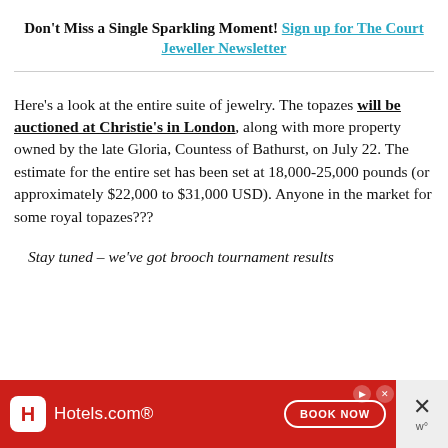Don't Miss a Single Sparkling Moment! Sign up for The Court Jeweller Newsletter
Here's a look at the entire suite of jewelry. The topazes will be auctioned at Christie's in London, along with more property owned by the late Gloria, Countess of Bathurst, on July 22. The estimate for the entire set has been set at 18,000-25,000 pounds (or approximately $22,000 to $31,000 USD). Anyone in the market for some royal topazes???
Stay tuned – we've got brooch tournament results tomorrow!
[Figure (other): Hotels.com advertisement banner with red background, Hotels.com logo, and BOOK NOW button]